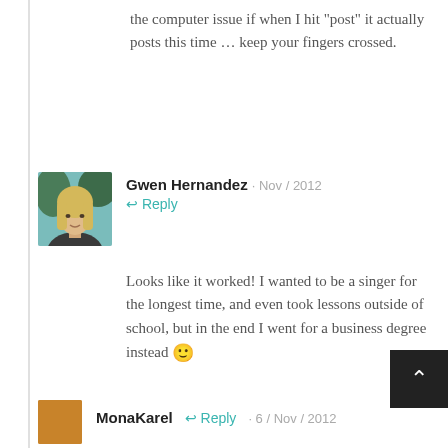the computer issue if when I hit “post” it actually posts this time … keep your fingers crossed.
[Figure (photo): Profile photo of Gwen Hernandez, a blonde woman in front of green foliage]
Gwen Hernandez · Nov / 2012 ↩ Reply
Looks like it worked! I wanted to be a singer for the longest time, and even took lessons outside of school, but in the end I went for a business degree instead 🙂
[Figure (photo): Small profile avatar for MonaKarel, brownish/orange color]
MonaKarel ↩ Reply · 6 / Nov / 2012